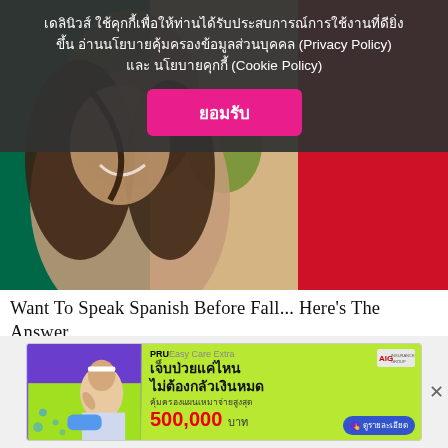เดลินิวส์ ใช้คุกกี้เพื่อให้ท่านได้รับประสบการณ์การใช้งานที่ดียิ่งขึ้น อ่านนโยบายคุ้มครองข้อมูลส่วนบุคคล (Privacy Policy) และ นโยบายคุกกี้ (Cookie Policy)
ยอมรับ
[Figure (photo): Woman smiling with hair in face, overlaid on Mexican flag (green, white with eagle emblem, red)]
Want To Speak Spanish Before Fall... Here's The Answer
Babbel | Sponsored
[Figure (photo): Insurance advertisement banner: PRUEasy Care Extra — เจ็บป่วยแค่ไหน ไม่ต้องกลัวเงินหมด คุ้มครองแผนเหมาจ่ายสูงสุด 500,000 บาท. Shows nurse/doctor image on left, AIG logo top right, ดูรายละเอียด button.]